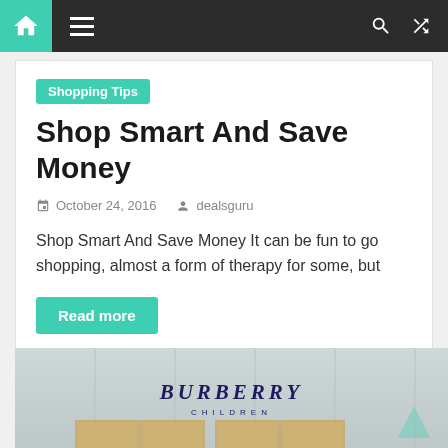Navigation bar with home, menu, search, and shuffle icons
Shopping Tips
Shop Smart And Save Money
October 24, 2016   dealsguru
Shop Smart And Save Money It can be fun to go shopping, almost a form of therapy for some, but
Read more
[Figure (photo): Burberry Children store front with illuminated signage on grey paneled wall]